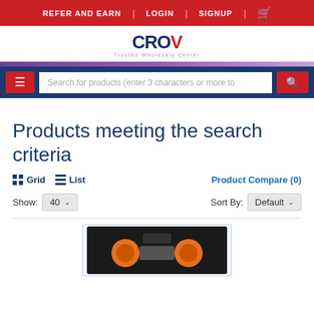REFER AND EARN | LOGIN | SIGNUP | cart
[Figure (logo): CROV Trusted Wholesale Center logo]
Products meeting the search criteria
Grid  List  Product Compare (0)
Show: 40  Sort By: Default
[Figure (photo): Product image showing a tool case with orange components against dark background]